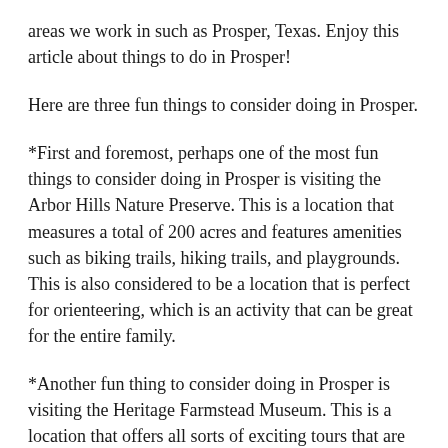areas we work in such as Prosper, Texas. Enjoy this article about things to do in Prosper!
Here are three fun things to consider doing in Prosper.
*First and foremost, perhaps one of the most fun things to consider doing in Prosper is visiting the Arbor Hills Nature Preserve. This is a location that measures a total of 200 acres and features amenities such as biking trails, hiking trails, and playgrounds. This is also considered to be a location that is perfect for orienteering, which is an activity that can be great for the entire family.
*Another fun thing to consider doing in Prosper is visiting the Heritage Farmstead Museum. This is a location that offers all sorts of exciting tours that are designed to make it feel as though you are actually experiencing everything as it would have been between the years of 1800 and 1925. Furthermore, the mivel